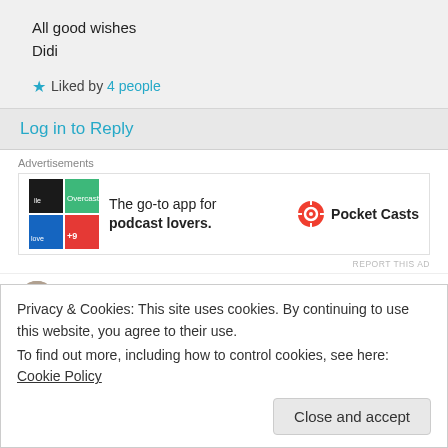All good wishes
Didi
★ Liked by 4 people
Log in to Reply
[Figure (screenshot): Pocket Casts advertisement banner: The go-to app for podcast lovers. Shows a colorful app icon with red, green, blue, black tiles and the Pocket Casts logo.]
iselandnanny on 17/02/2017 at 14:48
Privacy & Cookies: This site uses cookies. By continuing to use this website, you agree to their use.
To find out more, including how to control cookies, see here: Cookie Policy
Close and accept
★ Liked by 9 people